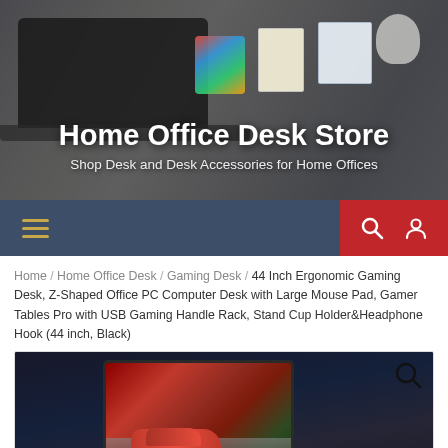[Figure (screenshot): Hero banner with blurred desk/laptop background, colorful document icons, and white text overlay reading 'Home Office Desk Store' with subtitle]
Home Office Desk Store
Shop Desk and Desk Accessories for Home Offices
[Figure (screenshot): Navigation bar with hamburger menu icon on left (steel blue background) and search + user icons on right (red background)]
Home / Home Office Desk / Gaming Desk / 44 Inch Ergonomic Gaming Desk, Z-Shaped Office PC Computer Desk with Large Mouse Pad, Gamer Tables Pro with USB Gaming Handle Rack, Stand Cup Holder&Headphone Hook (44 inch, Black)
[Figure (photo): Product photo of a gaming desk setup with a large curved monitor showing a red sports car on a race track, gaming peripherals, keyboard, and desk accessories on a dark surface]